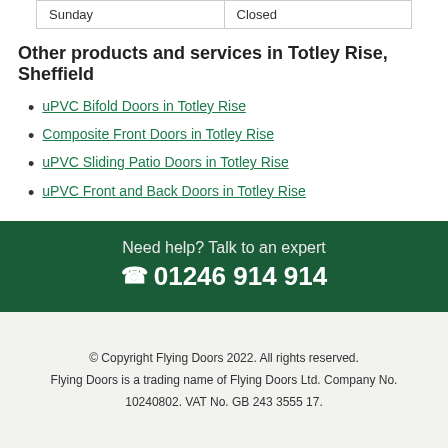| Sunday | Closed |
Other products and services in Totley Rise, Sheffield
uPVC Bifold Doors in Totley Rise
Composite Front Doors in Totley Rise
uPVC Sliding Patio Doors in Totley Rise
uPVC Front and Back Doors in Totley Rise
Need help? Talk to an expert
☎ 01246 914 914
© Copyright Flying Doors 2022. All rights reserved. Flying Doors is a trading name of Flying Doors Ltd. Company No. 10240802. VAT No. GB 243 3555 17.